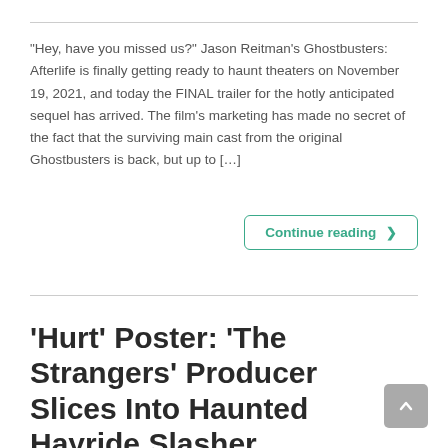“Hey, have you missed us?” Jason Reitman’s Ghostbusters: Afterlife is finally getting ready to haunt theaters on November 19, 2021, and today the FINAL trailer for the hotly anticipated sequel has arrived. The film’s marketing has made no secret of the fact that the surviving main cast from the original Ghostbusters is back, but up to […]
Continue reading ❯
‘Hurt’ Poster: ‘The Strangers’ Producer Slices Into Haunted Hayride Slasher [Exclusive]